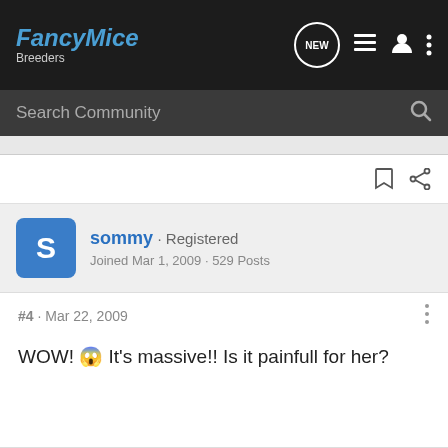FancyMice Breeders
Search Community
sommy · Registered
Joined Mar 1, 2009 · 529 Posts
#4 · Mar 22, 2009
WOW! 😱 It's massive!! Is it painfull for her?